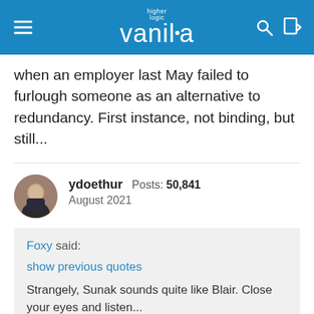higher logic vanilla
when an employer last May failed to furlough someone as an alternative to redundancy. First instance, not binding, but still...
ydoethur Posts: 50,841 August 2021
Foxy said:
show previous quotes
Strangely, Sunak sounds quite like Blair. Close your eyes and listen...
https://youtu.be/gIz-DjY4i-s
Though I do wonder how well Sunak will hold